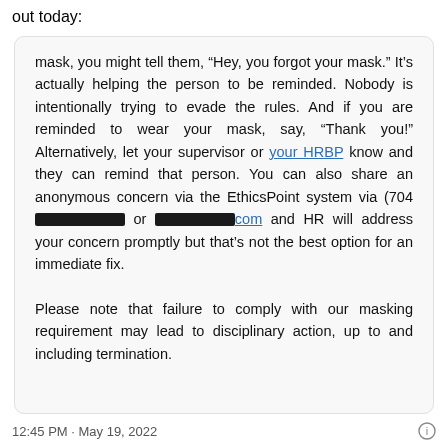out today:
mask, you might tell them, “Hey, you forgot your mask.” It’s actually helping the person to be reminded. Nobody is intentionally trying to evade the rules. And if you are reminded to wear your mask, say, “Thank you!” Alternatively, let your supervisor or your HRBP know and they can remind that person. You can also share an anonymous concern via the EthicsPoint system via (704[REDACTED] or [REDACTED].com and HR will address your concern promptly but that’s not the best option for an immediate fix.
Please note that failure to comply with our masking requirement may lead to disciplinary action, up to and including termination.
12:45 PM · May 19, 2022